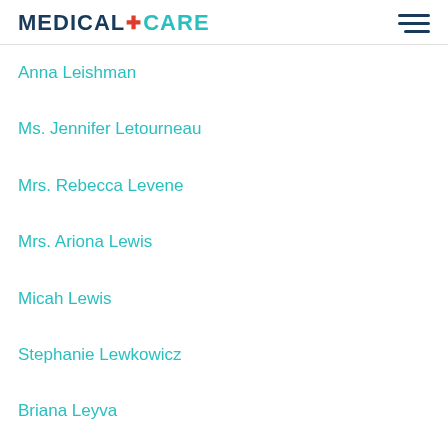MEDICALCARE
Anna Leishman
Ms. Jennifer Letourneau
Mrs. Rebecca Levene
Mrs. Ariona Lewis
Micah Lewis
Stephanie Lewkowicz
Briana Leyva